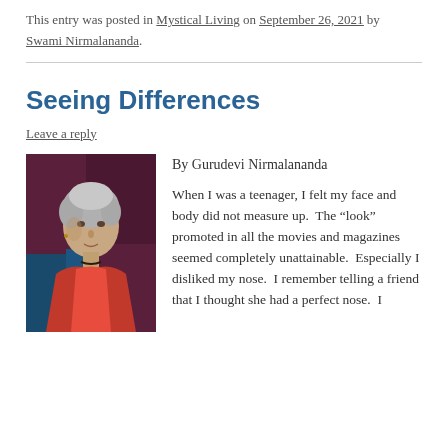This entry was posted in Mystical Living on September 26, 2021 by Swami Nirmalananda.
Seeing Differences
Leave a reply
[Figure (photo): Portrait photo of a woman with short gray hair wearing an orange/red garment, seated against a dark purplish background.]
By Gurudevi Nirmalananda

When I was a teenager, I felt my face and body did not measure up.  The “look” promoted in all the movies and magazines seemed completely unattainable.  Especially I disliked my nose.  I remember telling a friend that I thought she had a perfect nose.  I